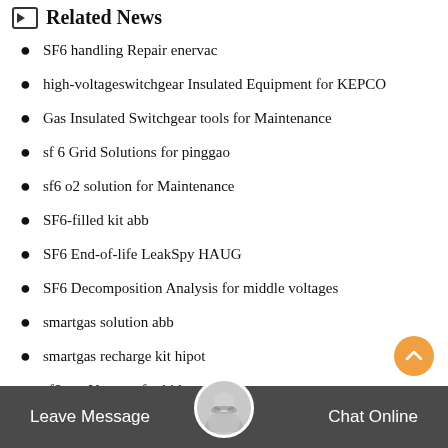Related News
SF6 handling Repair enervac
high-voltageswitchgear Insulated Equipment for KEPCO
Gas Insulated Switchgear tools for Maintenance
sf 6 Grid Solutions for pinggao
sf6 o2 solution for Maintenance
SF6-filled kit abb
SF6 End-of-life LeakSpy HAUG
SF6 Decomposition Analysis for middle voltages
smartgas solution abb
smartgas recharge kit hipot
sf6 gas Vacuum for bid
sf6 evacuation
process for 110kv
Leave Message   Chat Online